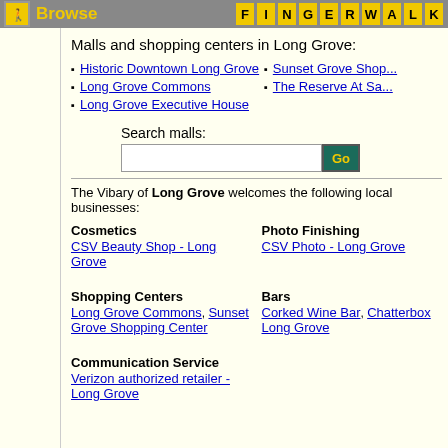Browse  FINGERWALK
Malls and shopping centers in Long Grove:
Historic Downtown Long Grove
Long Grove Commons
Long Grove Executive House
Sunset Grove Shop...
The Reserve At Sa...
Search malls:
The Vibary of Long Grove welcomes the following local businesses:
Cosmetics
CSV Beauty Shop - Long Grove
Photo Finishing
CSV Photo - Long Grove
Shopping Centers
Long Grove Commons, Sunset Grove Shopping Center
Bars
Corked Wine Bar, Chatterbox Long Grove
Communication Service
Verizon authorized retailer - Long Grove